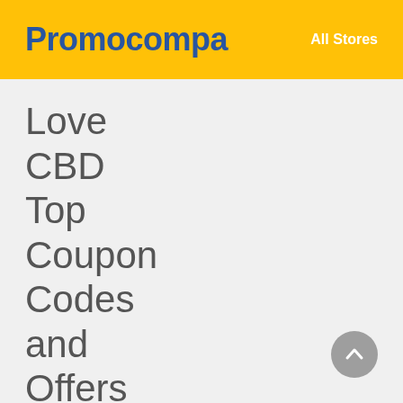Promocompa   All Stores
Love CBD Top Coupon Codes and Offers
Love Cbd Coupon Codes